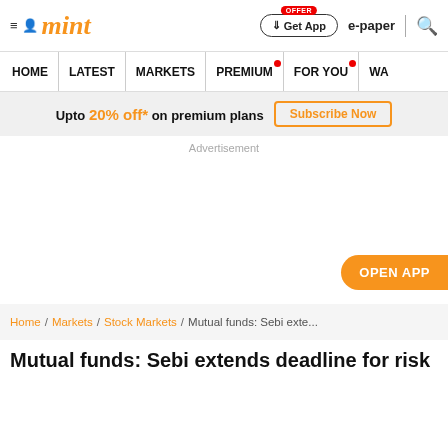mint | Get App | e-paper
HOME | LATEST | MARKETS | PREMIUM | FOR YOU | WA
Upto 20% off* on premium plans  Subscribe Now
Advertisement
OPEN APP
Home / Markets / Stock Markets / Mutual funds: Sebi exte...
Mutual funds: Sebi extends deadline for risk